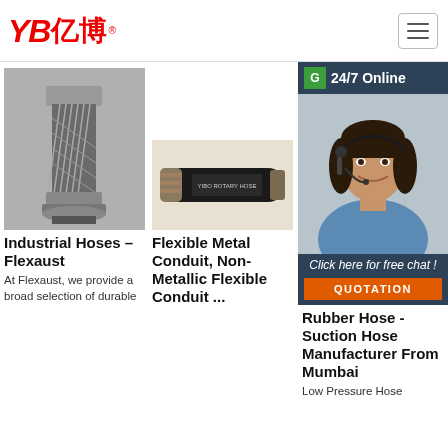YB亿博® [logo]
[Figure (photo): Industrial flexible metal hose connector with braided steel exterior and threaded ends]
[Figure (photo): Black rubber rotary hose product labeled YIBO ROTARY HOSE]
[Figure (photo): Customer service representative wearing headset, with 24/7 Online chat widget overlay and QUOTATION button]
Industrial Hoses – Flexaust
At Flexaust, we provide a broad selection of durable
Flexible Metal Conduit, Non-Metallic Flexible Conduit ...
Rubber Hose - Suction Hose Manufacturer From Mumbai
Low Pressure Hose